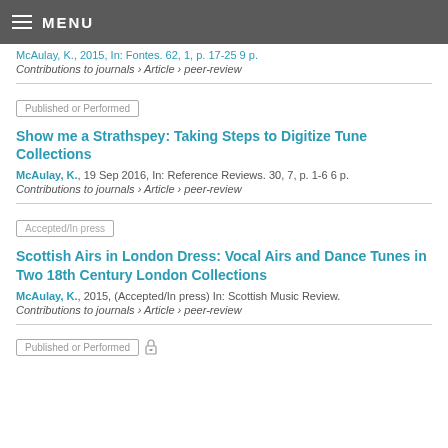MENU
McAulay, K., 2015, In: Fontes. 62, 1, p. 17-25 9 p.
Contributions to journals › Article › peer-review
Published or Performed
Show me a Strathspey: Taking Steps to Digitize Tune Collections
McAulay, K., 19 Sep 2016, In: Reference Reviews. 30, 7, p. 1-6 6 p.
Contributions to journals › Article › peer-review
Accepted/In press
Scottish Airs in London Dress: Vocal Airs and Dance Tunes in Two 18th Century London Collections
McAulay, K., 2015, (Accepted/In press) In: Scottish Music Review.
Contributions to journals › Article › peer-review
Published or Performed